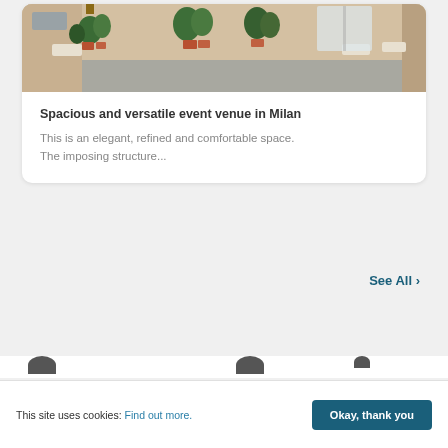[Figure (photo): Interior photo of a spacious event venue in Milan with plants along the walls and gray floor]
Spacious and versatile event venue in Milan
This is an elegant, refined and comfortable space. The imposing structure...
See All ›
This site uses cookies: Find out more. Okay, thank you